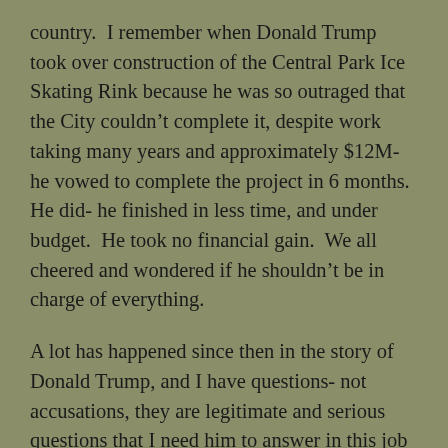country.  I remember when Donald Trump took over construction of the Central Park Ice Skating Rink because he was so outraged that the City couldn't complete it, despite work taking many years and approximately $12M- he vowed to complete the project in 6 months.  He did- he finished in less time, and under budget.  He took no financial gain.  We all cheered and wondered if he shouldn't be in charge of everything.
A lot has happened since then in the story of Donald Trump, and I have questions- not accusations, they are legitimate and serious questions that I need him to answer in this job interview we all call a political campaign.  If he does so honestly and thoughtfully, he could well satisfy concerns.  Don't call your bankruptcies business successes.  You put your business into bankruptcy as a last alternative, in order to stay alive despite not being profitable.  Mr. Trump-